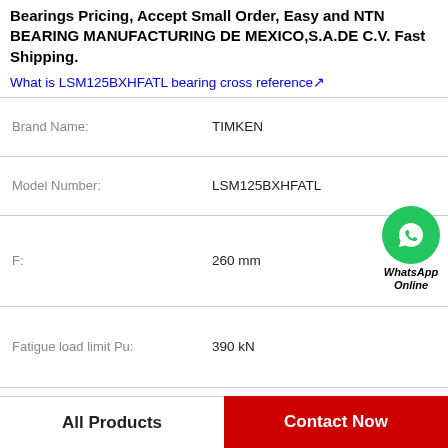Bearings Pricing, Accept Small Order, Easy and NTN BEARING MANUFACTURING DE MEXICO,S.A.DE C.V. Fast Shipping.
What is LSM125BXHFATL bearing cross reference↗
| Property | Value |
| --- | --- |
| Brand Name: | TIMKEN |
| Model Number: | LSM125BXHFATL |
| F: | 260 mm |
| Fatigue load limit Pu: | 390 kN |
| Design variant/feature: | BC4.1/WO |
| d: | 230 mm |
| r1,2 min.: | 2.1 mm |
[Figure (logo): WhatsApp Online green phone icon with text WhatsApp Online]
All Products
Contact Now